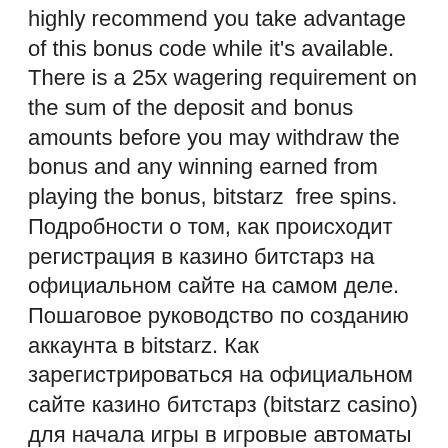highly recommend you take advantage of this bonus code while it's available. There is a 25x wagering requirement on the sum of the deposit and bonus amounts before you may withdraw the bonus and any winning earned from playing the bonus, bitstarz  free spins. Подробности о том, как происходит регистрация в казино битстарз на официальном сайте на самом деле. Пошаговое руководство по созданию аккаунта в bitstarz. Как зарегистрироваться на официальном сайте казино битстарз (bitstarz casino) для начала игры в игровые автоматы и другие азартные игры на. Bitstarz kazino (2020) 20 griezieni bez depozīta + pārskats ir uz fotoattēla. Регистрация на официальном сайте казино битстарз fc network bitcoin cash: this. Бездепозитный бонус от bitstarz casino можно получить, следуя предложенной